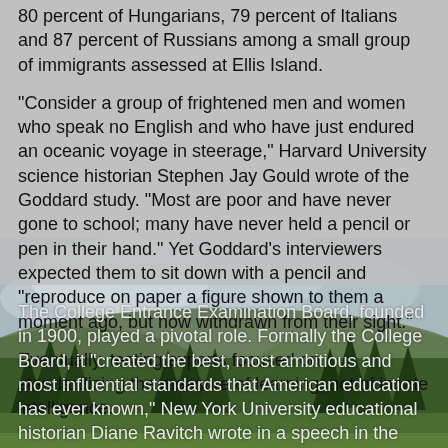80 percent of Hungarians, 79 percent of Italians and 87 percent of Russians among a small group of immigrants assessed at Ellis Island.
"Consider a group of frightened men and women who speak no English and who have just endured an oceanic voyage in steerage," Harvard University science historian Stephen Jay Gould wrote of the Goddard study. "Most are poor and have never gone to school; many have never held a pencil or pen in their hand." Yet Goddard's interviewers expected them to sit down with a pencil and "reproduce on paper a figure shown to them a moment ago, but now withdrawn from their sight."
Eventually, testing experts focused on standardizing the measure of learning, not of innate intelligence.
The College Entrance Examination Board, founded in 1900, played a pivotal role. Formally the College Board, it "created the best, most ambitious and most influential standards that American education has ever known," New York University educational historian Diane Ravitch wrote in a speech in the
[Figure (photo): Landscape photo of a misty green hillside with conifer trees and cloudy sky, used as background for the lower portion of the page.]